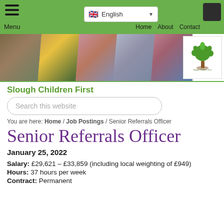Menu | English | Home | About | Contact
[Figure (photo): Banner with 5 photos of families and children, and Slough Children First logo on the right]
Slough Children First
Search this website
You are here: Home / Job Postings / Senior Referrals Officer
Senior Referrals Officer
January 25, 2022
Salary: £29,621 – £33,859 (including local weighting of £949)
Hours: 37 hours per week
Contract: Permanent